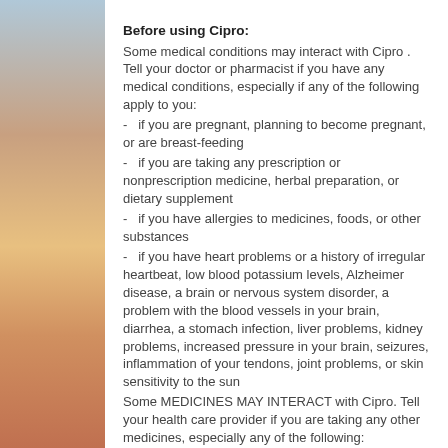Before using Cipro:
Some medical conditions may interact with Cipro . Tell your doctor or pharmacist if you have any medical conditions, especially if any of the following apply to you:
- if you are pregnant, planning to become pregnant, or are breast-feeding
- if you are taking any prescription or nonprescription medicine, herbal preparation, or dietary supplement
- if you have allergies to medicines, foods, or other substances
- if you have heart problems or a history of irregular heartbeat, low blood potassium levels, Alzheimer disease, a brain or nervous system disorder, a problem with the blood vessels in your brain, diarrhea, a stomach infection, liver problems, kidney problems, increased pressure in your brain, seizures, inflammation of your tendons, joint problems, or skin sensitivity to the sun
Some MEDICINES MAY INTERACT with Cipro. Tell your health care provider if you are taking any other medicines, especially any of the following: